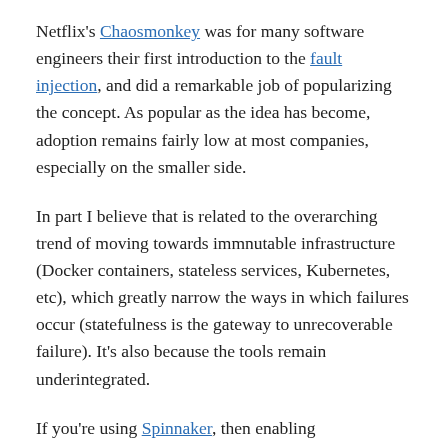Netflix's Chaosmonkey was for many software engineers their first introduction to the fault injection, and did a remarkable job of popularizing the concept. As popular as the idea has become, adoption remains fairly low at most companies, especially on the smaller side.
In part I believe that is related to the overarching trend of moving towards immnutable infrastructure (Docker containers, stateless services, Kubernetes, etc), which greatly narrow the ways in which failures occur (statefulness is the gateway to unrecoverable failure). It's also because the tools remain underintegrated.
If you're using Spinnaker, then enabling Chaosmonkey can be as simple as never unclicking a checkbox when you provision a new service, and ideally we'll get to a place where AWS AutoScaling Groups and such opt users into this behavior as well!
As many engineers have observed, I am a ...